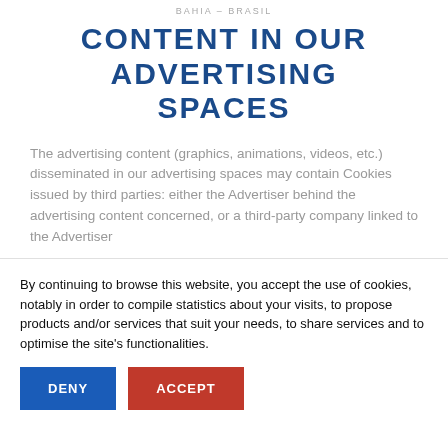BAHIA – BRASIL
CONTENT IN OUR ADVERTISING SPACES
The advertising content (graphics, animations, videos, etc.) disseminated in our advertising spaces may contain Cookies issued by third parties: either the Advertiser behind the advertising content concerned, or a third-party company linked to the Advertiser
By continuing to browse this website, you accept the use of cookies, notably in order to compile statistics about your visits, to propose products and/or services that suit your needs, to share services and to optimise the site's functionalities.
DENY | ACCEPT